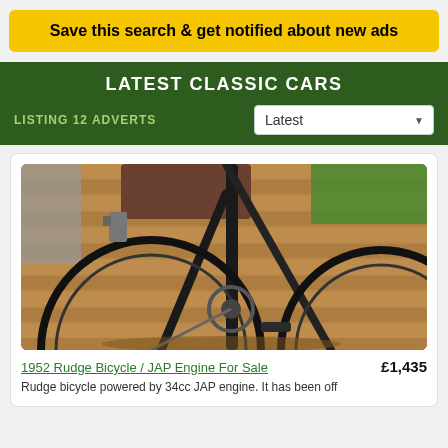Save this search & get notified about new ads
LATEST CLASSIC CARS
LISTING 12 ADVERTS
[Figure (photo): Close-up photo of a vintage bicycle frame, wheels, chain, and pedal on a wooden deck surface with green grass visible in the background.]
1952 Rudge Bicycle / JAP Engine For Sale  £1,435
Rudge bicycle powered by 34cc JAP engine. It has been off